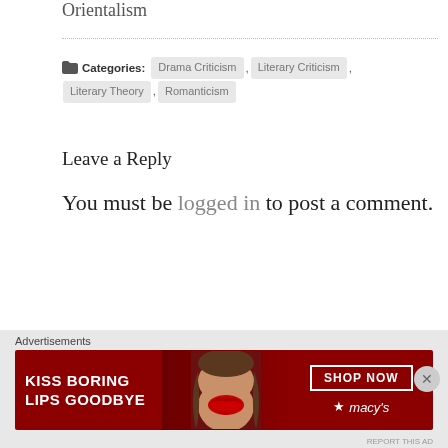Orientalism
Categories: Drama Criticism , Literary Criticism , Literary Theory , Romanticism
Leave a Reply
You must be logged in to post a comment.
Advertisements
[Figure (other): Macy's advertisement banner: KISS BORING LIPS GOODBYE with a photo of a woman and red lips, SHOP NOW button, and Macy's star logo]